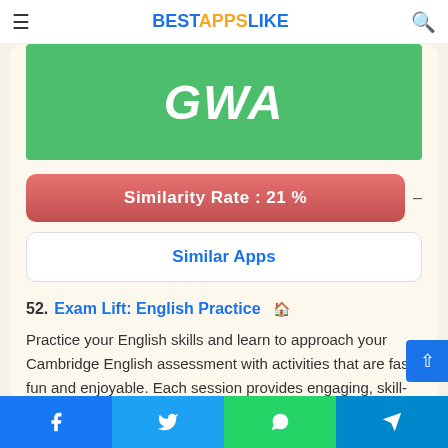BESTAPPSLIKE
[Figure (screenshot): Green app icon area showing partial logo text in white italic bold font on green background]
Similarity Rate : 21 %
Similar Apps
52. Exam Lift: English Practice — Practice your English skills and learn to approach your Cambridge English assessment with activities that are fast, fun and enjoyable. Each session provides engaging, skill-based